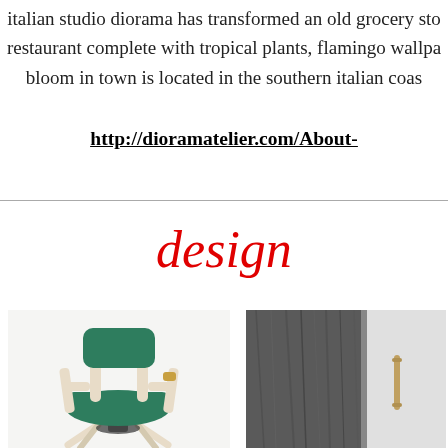italian studio diorama has transformed an old grocery sto... restaurant complete with tropical plants, flamingo wallpa... bloom in town is located in the southern italian coas...
http://dioramatelier.com/About-
design
[Figure (photo): A modern wooden chair with green upholstered seat and back, four-legged base with swivel mechanism]
[Figure (photo): Close-up of a dark grey wood-textured furniture panel, possibly a cabinet or wardrobe]